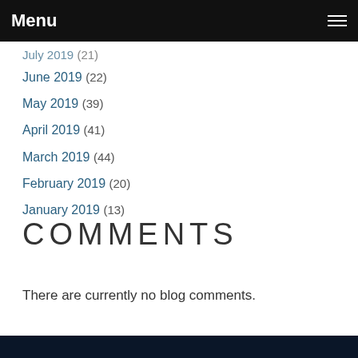Menu
July 2019 (21)
June 2019 (22)
May 2019 (39)
April 2019 (41)
March 2019 (44)
February 2019 (20)
January 2019 (13)
COMMENTS
There are currently no blog comments.